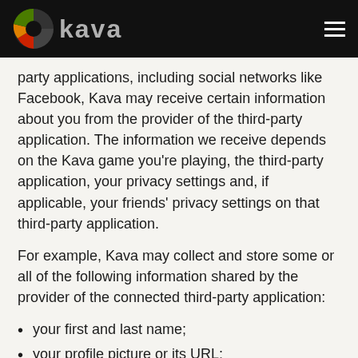Kava
party applications, including social networks like Facebook, Kava may receive certain information about you from the provider of the third-party application. The information we receive depends on the Kava game you're playing, the third-party application, your privacy settings and, if applicable, your friends' privacy settings on that third-party application.
For example, Kava may collect and store some or all of the following information shared by the provider of the connected third-party application:
your first and last name;
your profile picture or its URL;
your user ID number (like your Facebook ID number), which may be linked to publicly-available information like